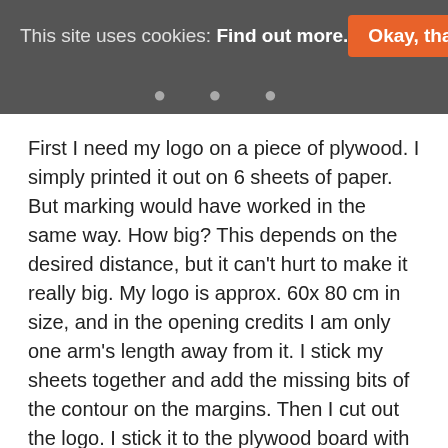This site uses cookies: Find out more.  Okay, thanks
First I need my logo on a piece of plywood. I simply printed it out on 6 sheets of paper. But marking would have worked in the same way. How big? This depends on the desired distance, but it can't hurt to make it really big. My logo is approx. 60x 80 cm in size, and in the opening credits I am only one arm's length away from it. I stick my sheets together and add the missing bits of the contour on the margins. Then I cut out the logo. I stick it to the plywood board with a glue stick.
Now an LED strip is used. When you buy an led strip for photography or video purposes, look for a high CRI value (color rendering index). It should be 80 or above.
If you are going to use it alongside other lighting equipment, I would suggest that you match the color